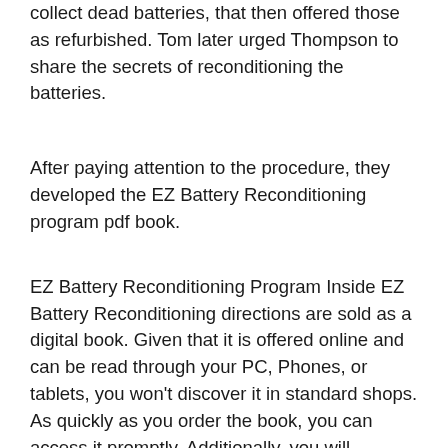collect dead batteries, that then offered those as refurbished. Tom later urged Thompson to share the secrets of reconditioning the batteries.
After paying attention to the procedure, they developed the EZ Battery Reconditioning program pdf book.
EZ Battery Reconditioning Program Inside EZ Battery Reconditioning directions are sold as a digital book. Given that it is offered online and can be read through your PC, Phones, or tablets, you won’t discover it in standard shops. As quickly as you order the book, you can access it promptly. Additionally, you will certainly get lifetime access to any kind of